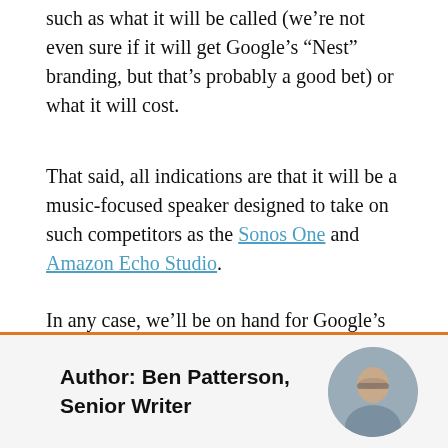such as what it will be called (we're not even sure if it will get Google's “Nest” branding, but that's probably a good bet) or what it will cost.
That said, all indications are that it will be a music-focused speaker designed to take on such competitors as the Sonos One and Amazon Echo Studio.
In any case, we'll be on hand for Google's virtual press event, which is slated for 2 p.m. ET on September 30. Stay tuned.
Author: Ben Patterson, Senior Writer